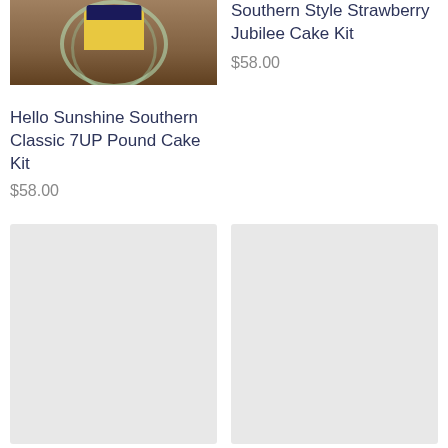[Figure (photo): Photo of a Hello Sunshine cake on a glass plate, showing yellow cake with dark topping]
Southern Style Strawberry Jubilee Cake Kit
$58.00
Hello Sunshine Southern Classic 7UP Pound Cake Kit
$58.00
[Figure (photo): Placeholder image (light gray) for a product]
[Figure (photo): Placeholder image (light gray) for a product]
Strawberry Moon